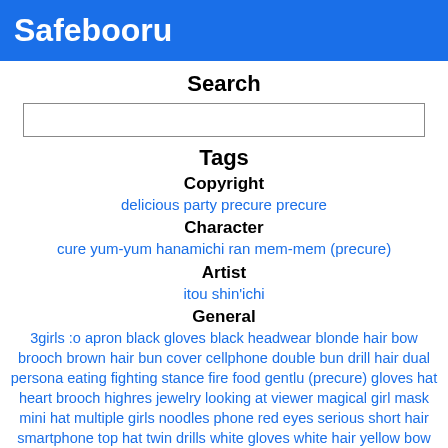Safebooru
Search
[search input box]
Tags
Copyright
delicious party precure precure
Character
cure yum-yum hanamichi ran mem-mem (precure)
Artist
itou shin'ichi
General
3girls :o apron black gloves black headwear blonde hair bow brooch brown hair bun cover cellphone double bun drill hair dual persona eating fighting stance fire food gentlu (precure) gloves hat heart brooch highres jewelry looking at viewer magical girl mask mini hat multiple girls noodles phone red eyes serious short hair smartphone top hat twin drills white gloves white hair yellow bow
Meta
absurdres